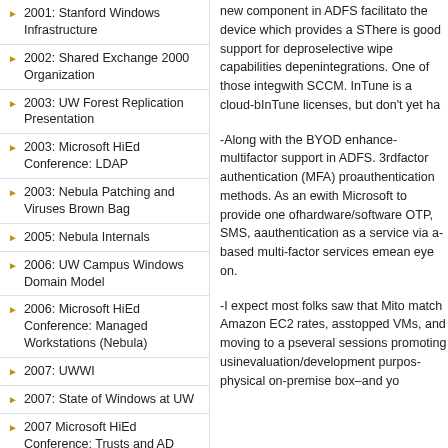2001: Stanford Windows Infrastructure
2002: Shared Exchange 2000 Organization
2003: UW Forest Replication Presentation
2003: Microsoft HiEd Conference: LDAP
2003: Nebula Patching and Viruses Brown Bag
2005: Nebula Internals
2006: UW Campus Windows Domain Model
2006: Microsoft HiEd Conference: Managed Workstations (Nebula)
2007: UWWI
2007: State of Windows at UW
2007 Microsoft HiEd Conference: Trusts and AD Privacy Groups
2009: UWWI: What's in it
new component in ADFS facilita... to the device which provides a S... There is good support for depro... selective wipe capabilities depen... integrations. One of those integ... with SCCM. InTune is a cloud-b... InTune licenses, but don't yet ha...
-Along with the BYOD enhance... multifactor support in ADFS. 3rd... factor authentication (MFA) pro... authentication methods. As an e... with Microsoft to provide one of... hardware/software OTP, SMS, a... authentication as a service via a... based multi-factor services eme... an eye on.
-I expect most folks saw that Mi... to match Amazon EC2 rates, as... stopped VMs, and moving to a p... several sessions promoting usin... evaluation/development purpos... physical on-premise box–and yo...